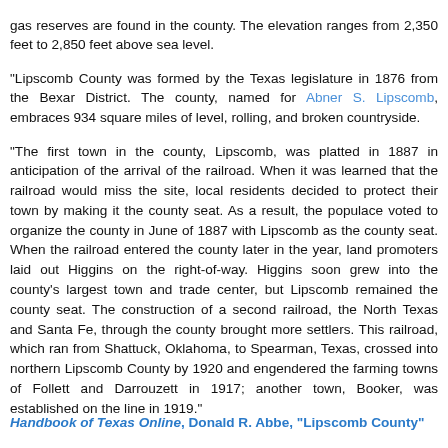gas reserves are found in the county. The elevation ranges from 2,350 feet to 2,850 feet above sea level. "Lipscomb County was formed by the Texas legislature in 1876 from the Bexar District. The county, named for Abner S. Lipscomb, embraces 934 square miles of level, rolling, and broken countryside. "The first town in the county, Lipscomb, was platted in 1887 in anticipation of the arrival of the railroad. When it was learned that the railroad would miss the site, local residents decided to protect their town by making it the county seat. As a result, the populace voted to organize the county in June of 1887 with Lipscomb as the county seat. When the railroad entered the county later in the year, land promoters laid out Higgins on the right-of-way. Higgins soon grew into the county's largest town and trade center, but Lipscomb remained the county seat. The construction of a second railroad, the North Texas and Santa Fe, through the county brought more settlers. This railroad, which ran from Shattuck, Oklahoma, to Spearman, Texas, crossed into northern Lipscomb County by 1920 and engendered the farming towns of Follett and Darrouzett in 1917; another town, Booker, was established on the line in 1919."
Handbook of Texas Online, Donald R. Abbe, "Lipscomb County"